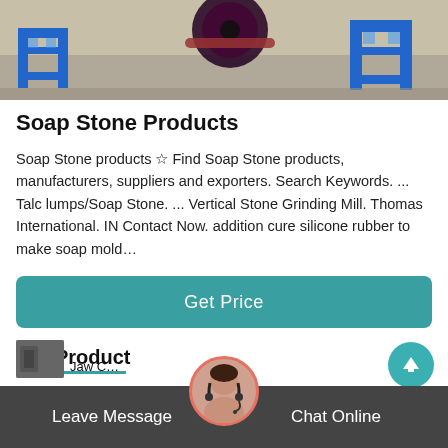[Figure (photo): Industrial machinery photo showing blue metal frame structures and mechanical equipment on a concrete floor.]
Soap Stone Products
Soap Stone products ☆ Find Soap Stone products, manufacturers, suppliers and exporters. Search Keywords. ... Talc lumps/Soap Stone. ... Vertical Stone Grinding Mill. Thomas International. IN Contact Now. addition cure silicone rubber to make soap mold…
Get Price
Hot Product
[Figure (photo): Thumbnail image of a Jaw Crusher product.]
Jaw C…
Leave Message
Chat Online